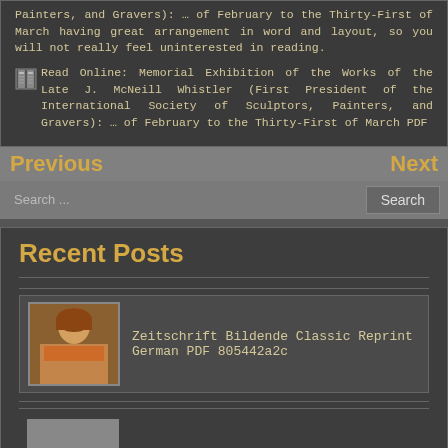Painters, and Gravers): … of February to the Thirty-First of March having great arrangement in word and layout, so you will not really feel uninterested in reading.
Read Online: Memorial Exhibition of the Works of the Late J. McNeill Whistler (First President of the International Society of Sculptors, Painters, and Gravers): … of February to the Thirty-First of March PDF
Previous
Next
Search ...
Recent Posts
Zeitschrift Bildende Classic Reprint German PDF 805442a2c